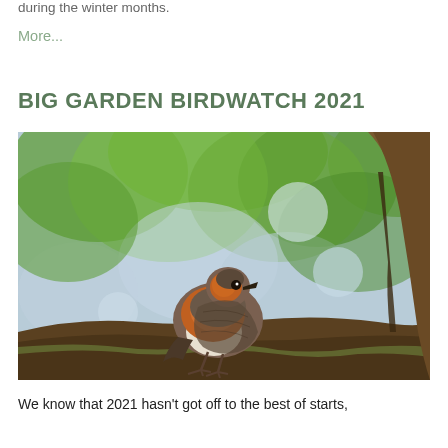during the winter months.
More...
BIG GARDEN BIRDWATCH 2021
[Figure (photo): A robin bird with orange-red breast perched on a tree branch, surrounded by green bokeh leaves in the background.]
We know that 2021 hasn't got off to the best of starts,